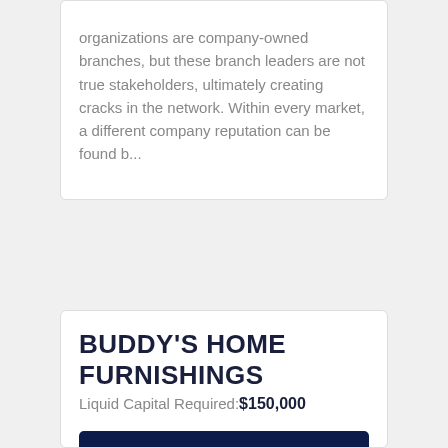organizations are company-owned branches, but these branch leaders are not true stakeholders, ultimately creating cracks in the network. Within every market, a different company reputation can be found b...
BUDDY'S HOME FURNISHINGS
Liquid Capital Required: $150,000
REQUEST INFORMATION →
[Figure (logo): Buddy's Home Furnishings logo — yellow bold text 'BUDDY'S' on white background with blue banner 'HOME FURNISHINGS' below]
The Buddy's Story In 1961, Buddy's Bi-Rite was founded in Tampa, FL and proceeded to grow into a chain of 43 furniture and appliance stores throughout Georgia and Florida in just 25 years. Since then, the